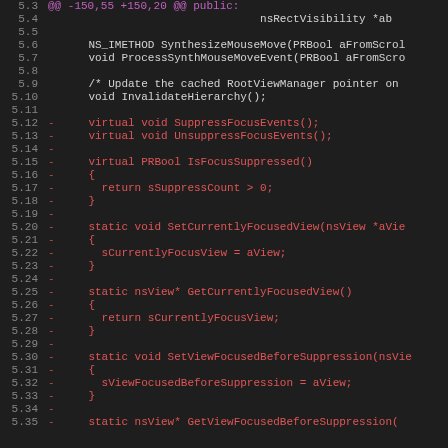[Figure (screenshot): Code diff view showing removed lines (in red) from a C++ header file. Lines 5.3 through 5.35 are shown. The diff removes virtual methods SuppressFocusEvents, UnsuppressFocusEvents, IsFocusSuppressed, SetCurrentlyFocusedView, GetCurrentlyFocusedView, and SetViewFocusedBeforeSuppression from a class definition.]